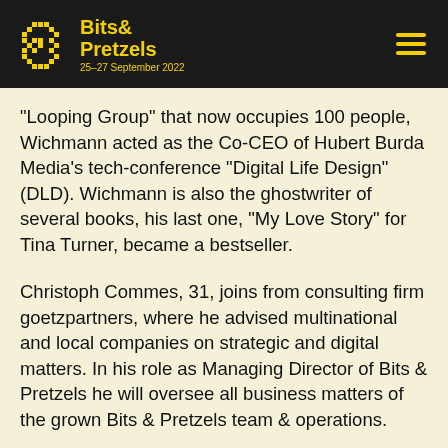Bits & Pretzels 25–27 September 2022
“Looping Group” that now occupies 100 people, Wichmann acted as the Co-CEO of Hubert Burda Media’s tech-conference “Digital Life Design” (DLD). Wichmann is also the ghostwriter of several books, his last one, “My Love Story” for Tina Turner, became a bestseller.
Christoph Commes, 31, joins from consulting firm goetzpartners, where he advised multinational and local companies on strategic and digital matters. In his role as Managing Director of Bits & Pretzels he will oversee all business matters of the grown Bits & Pretzels team & operations.